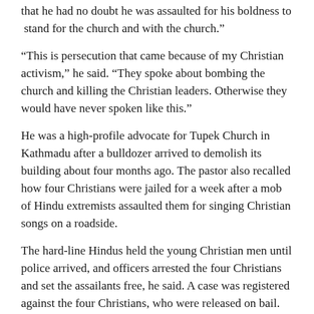that he had no doubt he was assaulted for his boldness to 'stand for the church and with the church.'
“This is persecution that came because of my Christian activism,” he said. “They spoke about bombing the church and killing the Christian leaders. Otherwise they would have never spoken like this.”
He was a high-profile advocate for Tupek Church in Kathmadu after a bulldozer arrived to demolish its building about four months ago. The pastor also recalled how four Christians were jailed for a week after a mob of Hindu extremists assaulted them for singing Christian songs on a roadside.
The hard-line Hindus held the young Christian men until police arrived, and officers arrested the four Christians and set the assailants free, he said. A case was registered against the four Christians, who were released on bail.
The assault on Pastor Baizu comes amid a rash of anti-Christian hostilities this year. He said increased threats on the Christian community in Nepal is a matter of great concern.